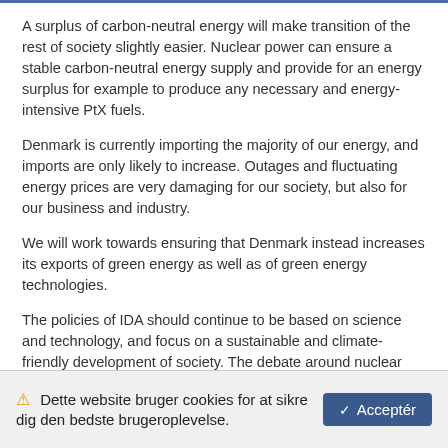A surplus of carbon-neutral energy will make transition of the rest of society slightly easier. Nuclear power can ensure a stable carbon-neutral energy supply and provide for an energy surplus for example to produce any necessary and energy-intensive PtX fuels.
Denmark is currently importing the majority of our energy, and imports are only likely to increase. Outages and fluctuating energy prices are very damaging for our society, but also for our business and industry.
We will work towards ensuring that Denmark instead increases its exports of green energy as well as of green energy technologies.
The policies of IDA should continue to be based on science and technology, and focus on a sustainable and climate-friendly development of society. The debate around nuclear power should be based on science, reliable data and validated documentation. That is the only way for us and our
⚠ Dette website bruger cookies for at sikre dig den bedste brugeroplevelse.